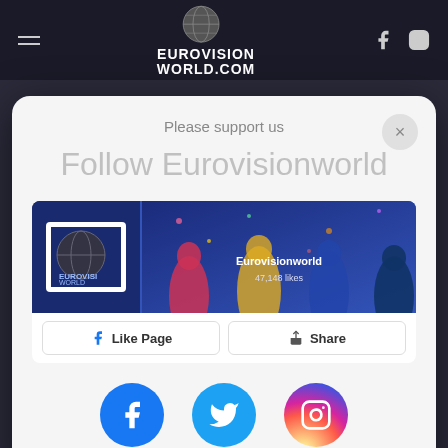EUROVISION WORLD.COM
SWEDEN
Cornelia Jakobs – "Hold Me Closer"
Please support us
Follow Eurovisionworld
[Figure (screenshot): Facebook page widget for Eurovisionworld showing logo, 47,148 likes, performers photo, Like Page and Share buttons]
[Figure (infographic): Three social media icon buttons: Facebook (blue circle), Twitter (blue circle), Instagram (gradient circle)]
ALL ABOU